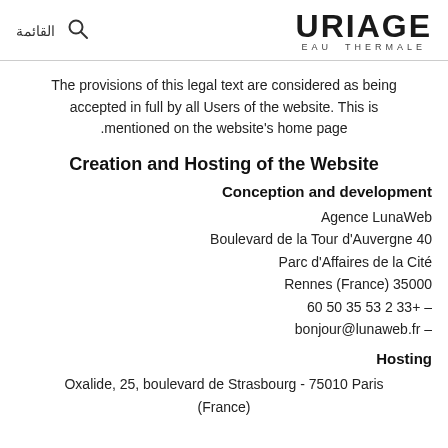القائمة | [search icon] | URIAGE EAU THERMALE
The provisions of this legal text are considered as being accepted in full by all Users of the website. This is mentioned on the website's home page.
Creation and Hosting of the Website
Conception and development
Agence LunaWeb
Boulevard de la Tour d'Auvergne 40
Parc d'Affaires de la Cité
Rennes (France) 35000
60 50 35 53 2 33+ –
bonjour@lunaweb.fr –
Hosting
Oxalide, 25, boulevard de Strasbourg - 75010 Paris (France)